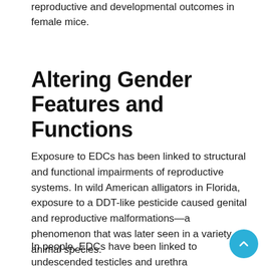reproductive and developmental outcomes in female mice.
Altering Gender Features and Functions
Exposure to EDCs has been linked to structural and functional impairments of reproductive systems. In wild American alligators in Florida, exposure to a DDT-like pesticide caused genital and reproductive malformations—a phenomenon that was later seen in a variety of animal species.
In people, EDCs have been linked to undescended testicles and urethra defects in men and